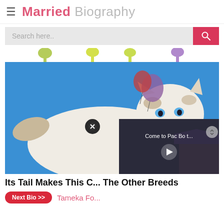Married Biography
[Figure (screenshot): Search bar with pink search button and magnifying glass icon]
[Figure (photo): A fluffy white/tabby cat with blue eyes and striped markings on a bright blue background, with decorative balloon/tree shapes. A video overlay panel shows 'Come to Pac Bo t...' with a play button. A close (X) button is shown.]
Its Tail Makes This C... The Other Breeds
Next Bio >> Tameka Fo...